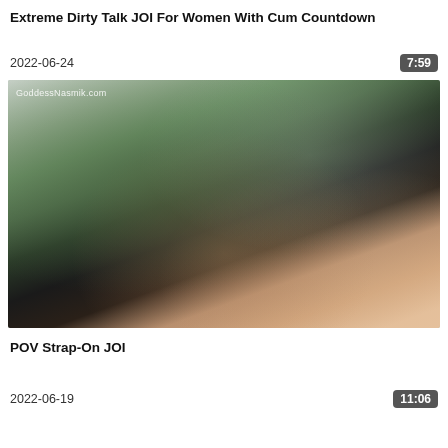Extreme Dirty Talk JOI For Women With Cum Countdown
2022-06-24
7:59
[Figure (photo): Video thumbnail showing a woman in a black bunny mask and black gloves holding a strap-on, with green tropical plant leaves in the background. Watermark reads GoddessNasmik.com]
POV Strap-On JOI
2022-06-19
11:06